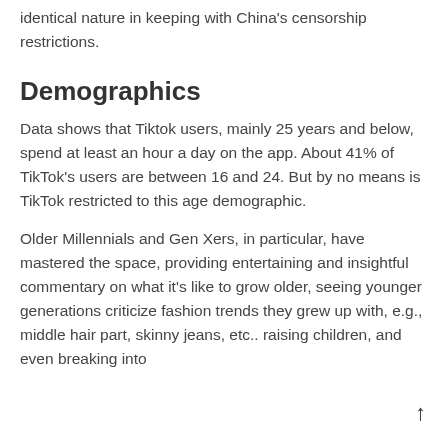identical nature in keeping with China's censorship restrictions.
Demographics
Data shows that Tiktok users, mainly 25 years and below, spend at least an hour a day on the app. About 41% of TikTok's users are between 16 and 24. But by no means is TikTok restricted to this age demographic.
Older Millennials and Gen Xers, in particular, have mastered the space, providing entertaining and insightful commentary on what it's like to grow older, seeing younger generations criticize fashion trends they grew up with, e.g., middle hair part, skinny jeans, etc.. raising children, and even breaking into